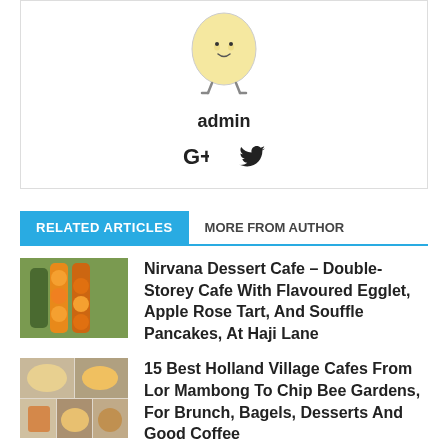[Figure (illustration): Author avatar - cartoon egg character illustration]
admin
[Figure (illustration): Social media icons: Google+ and Twitter]
RELATED ARTICLES   MORE FROM AUTHOR
[Figure (photo): Photo of colourful fruit/food skewers at a street market]
Nirvana Dessert Cafe – Double-Storey Cafe With Flavoured Egglet, Apple Rose Tart, And Souffle Pancakes, At Haji Lane
[Figure (photo): Collage of cafe food photos from Holland Village cafes]
15 Best Holland Village Cafes From Lor Mambong To Chip Bee Gardens, For Brunch, Bagels, Desserts And Good Coffee